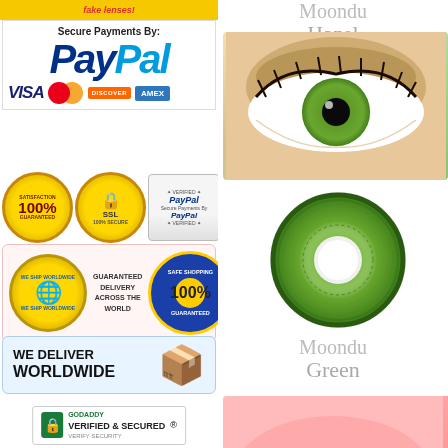[Figure (infographic): Left column: fake lenses warning yellow banner, PayPal secure payments logo with Visa, Mastercard, Discover, Amex icons, trust badges (100% satisfaction guaranteed, SSL secure, PayPal verified), shipping worldwide safe shopping badges with guaranteed delivery across the world text, we deliver worldwide banner with package icon, GoDaddy verified and secured badge]
[Figure (photo): Right column: Moondust Hazel text, close-up photo of an eye wearing green colored contact lens, circular green contact lens product image, Moondust Green text, partial pink image at bottom]